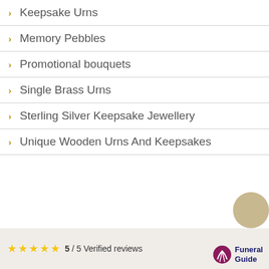Keepsake Urns
Memory Pebbles
Promotional bouquets
Single Brass Urns
Sterling Silver Keepsake Jewellery
Unique Wooden Urns And Keepsakes
5 / 5 Verified reviews — Funeral Guide